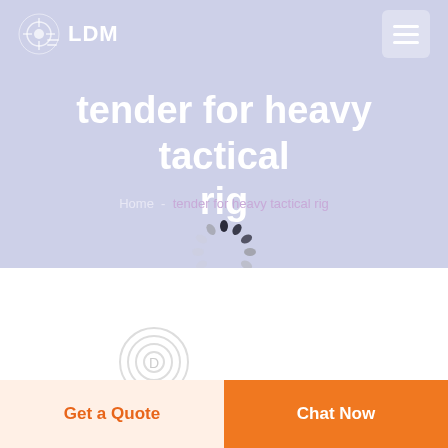[Figure (screenshot): LDM website header with logo icon and text 'LDM' on left, hamburger menu button on right, lavender/purple background]
tender for heavy tactical rig
Home - tender for heavy tactical rig
[Figure (other): Loading spinner animation overlaid on breadcrumb text in hero section]
[Figure (other): Circular loading/placeholder icon in white content area below hero]
Get a Quote
Chat Now